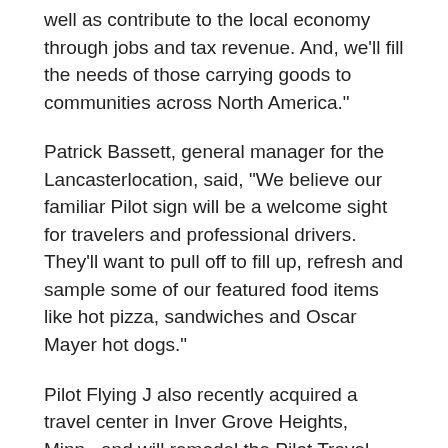well as contribute to the local economy through jobs and tax revenue. And, we'll fill the needs of those carrying goods to communities across North America."
Patrick Bassett, general manager for the Lancasterlocation, said, "We believe our familiar Pilot sign will be a welcome sight for travelers and professional drivers. They'll want to pull off to fill up, refresh and sample some of our featured food items like hot pizza, sandwiches and Oscar Mayer hot dogs."
Pilot Flying J also recently acquired a travel center in Inver Grove Heights, Minn., and will remodel the Pilot Travel Center to feature full amenities for professional drivers and the motoring public. It will remain open during remodeling, which is expected